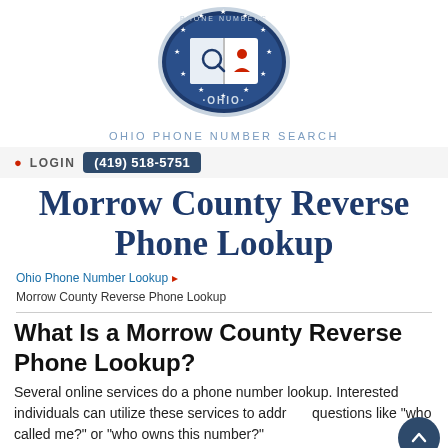[Figure (logo): Ohio Phone Numbers seal logo — circular navy blue badge with stars, an open book with a magnifying glass and person icon, and text 'OHIO' at the bottom]
OHIO PHONE NUMBER SEARCH
• LOGIN (419) 518-5751
Morrow County Reverse Phone Lookup
Ohio Phone Number Lookup ▸ Morrow County Reverse Phone Lookup
What Is a Morrow County Reverse Phone Lookup?
Several online services do a phone number lookup. Interested individuals can utilize these services to address questions like "who called me?" or "who owns this number?"